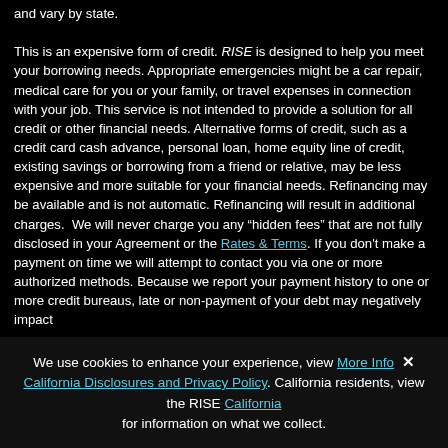and vary by state. This is an expensive form of credit. RISE is designed to help you meet your borrowing needs. Appropriate emergencies might be a car repair, medical care for you or your family, or travel expenses in connection with your job. This service is not intended to provide a solution for all credit or other financial needs. Alternative forms of credit, such as a credit card cash advance, personal loan, home equity line of credit, existing savings or borrowing from a friend or relative, may be less expensive and more suitable for your financial needs. Refinancing may be available and is not automatic. Refinancing will result in additional charges. We will never charge you any "hidden fees" that are not fully disclosed in your Agreement or the Rates & Terms. If you don't make a payment on time we will attempt to contact you via one or more authorized methods. Because we report your payment history to one or more credit bureaus, late or non-payment of your debt may negatively impact [truncated]
We use cookies to enhance your experience, view More Info. California residents, view the RISE California Disclosures and Privacy Policy for information on what we collect.